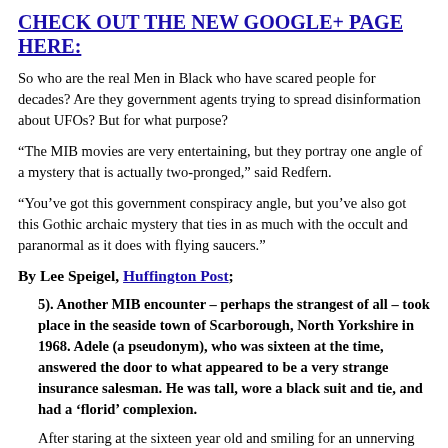CHECK OUT THE NEW GOOGLE+ PAGE HERE:
So who are the real Men in Black who have scared people for decades? Are they government agents trying to spread disinformation about UFOs? But for what purpose?
“The MIB movies are very entertaining, but they portray one angle of a mystery that is actually two-pronged,” said Redfern.
“You’ve got this government conspiracy angle, but you’ve also got this Gothic archaic mystery that ties in as much with the occult and paranormal as it does with flying saucers.”
By Lee Speigel, Huffington Post;
5). Another MIB encounter – perhaps the strangest of all – took place in the seaside town of Scarborough, North Yorkshire in 1968. Adele (a pseudonym), who was sixteen at the time, answered the door to what appeared to be a very strange insurance salesman. He was tall, wore a black suit and tie, and had a ‘florid’ complexion.
After staring at the sixteen year old and smiling for an unnerving length of time he ‘jerked’ into action and asked Adele “do you have insurance? Is it now?” Adele later remarked that his voice seemed to be computerized.
She suggested that the insurance salesman come back later when her...